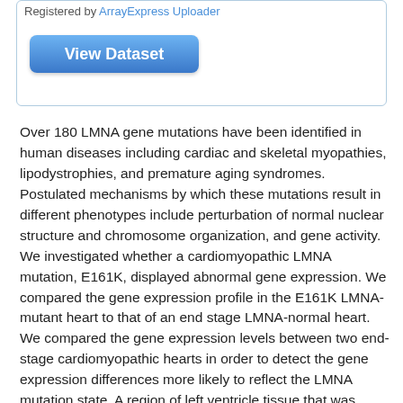Registered by ArrayExpress Uploader
[Figure (other): View Dataset button - a blue rounded rectangle button with white bold text]
Over 180 LMNA gene mutations have been identified in human diseases including cardiac and skeletal myopathies, lipodystrophies, and premature aging syndromes. Postulated mechanisms by which these mutations result in different phenotypes include perturbation of normal nuclear structure and chromosome organization, and gene activity. We investigated whether a cardiomyopathic LMNA mutation, E161K, displayed abnormal gene expression. We compared the gene expression profile in the E161K LMNA-mutant heart to that of an end stage LMNA-normal heart. We compared the gene expression levels between two end-stage cardiomyopathic hearts in order to detect the gene expression differences more likely to reflect the LMNA mutation state. A region of left ventricle tissue that was grossly less fibrotic and contained cardiomyocytes of the LMNA-mutant heart was selected for RNA isolation. A region of a male heart that was also end-stage dilated cardiomyopathy, but LMNA-normal and also devoid of obvious fibrosis was selected for RNA isolation. Two technical replicates were performed for each sample, and data were analyzed using two different normalization strategies (Mas5